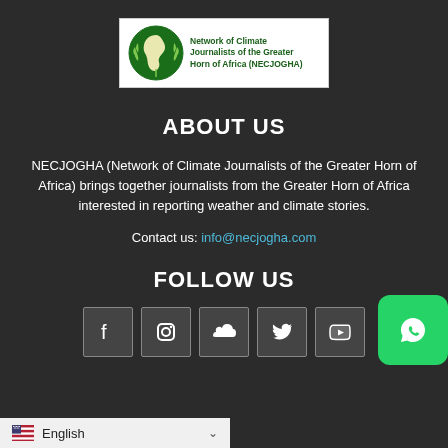[Figure (logo): NECJOGHA logo: green circle with Africa map and wheat leaves, with text 'Network of Climate Journalists of the Greater Horn of Africa (NECJOGHA)']
ABOUT US
NECJOGHA (Network of Climate Journalists of the Greater Horn of Africa) brings together journalists from the Greater Horn of Africa interested in reporting weather and climate stories.
Contact us: info@necjogha.com
FOLLOW US
[Figure (infographic): Social media icons row: Facebook, Instagram, SoundCloud, Twitter, YouTube, and WhatsApp floating button]
English